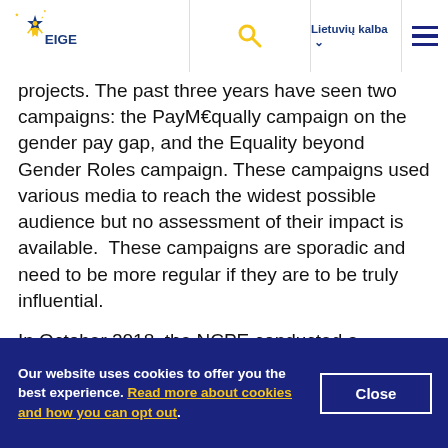EIGE — Lietuvių kalba
projects. The past three years have seen two campaigns: the PayM€qually campaign on the gender pay gap, and the Equality beyond Gender Roles campaign. These campaigns used various media to reach the widest possible audience but no assessment of their impact is available.  These campaigns are sporadic and need to be more regular if they are to be truly influential.
In October 2018, the NCPE conducted a seminar on
Our website uses cookies to offer you the best experience. Read more about cookies and how you can opt out.